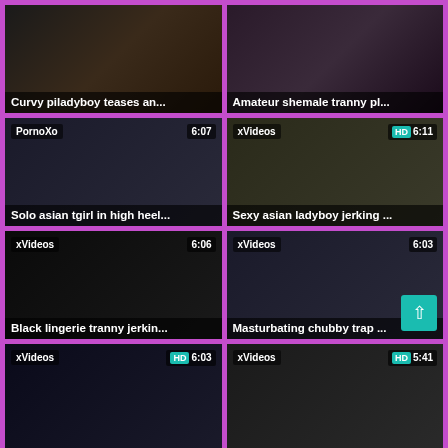[Figure (photo): Video thumbnail: Curvy piladyboy teases an...]
[Figure (photo): Video thumbnail: Amateur shemale tranny pl...]
[Figure (photo): Video thumbnail: Solo asian tgirl in high heel... Source: PornoXo, Duration: 6:07]
[Figure (photo): Video thumbnail: Sexy asian ladyboy jerking ... Source: xVideos, HD, Duration: 6:11]
[Figure (photo): Video thumbnail: Black lingerie tranny jerkin... Source: xVideos, Duration: 6:06]
[Figure (photo): Video thumbnail: Masturbating chubby trap ... Source: xVideos, Duration: 6:03]
[Figure (photo): Video thumbnail row 4 left: xVideos, HD, 6:03]
[Figure (photo): Video thumbnail row 4 right: xVideos, HD, 5:41]